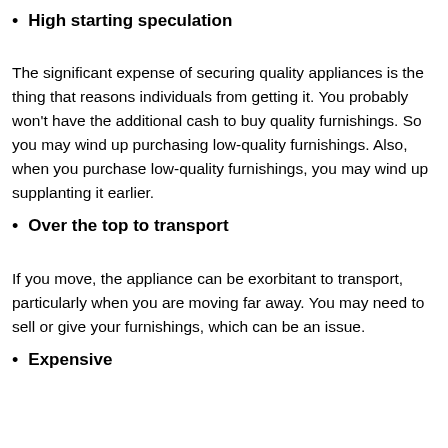High starting speculation
The significant expense of securing quality appliances is the thing that reasons individuals from getting it. You probably won't have the additional cash to buy quality furnishings. So you may wind up purchasing low-quality furnishings. Also, when you purchase low-quality furnishings, you may wind up supplanting it earlier.
Over the top to transport
If you move, the appliance can be exorbitant to transport, particularly when you are moving far away. You may need to sell or give your furnishings, which can be an issue.
Expensive